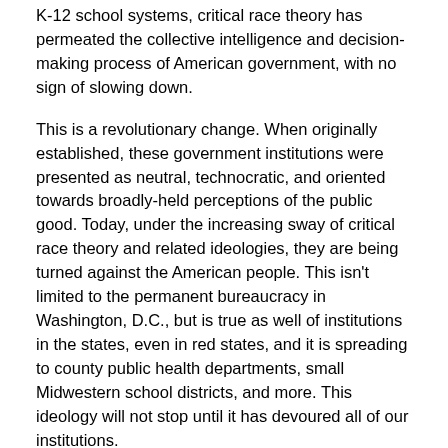K-12 school systems, critical race theory has permeated the collective intelligence and decision-making process of American government, with no sign of slowing down.
This is a revolutionary change. When originally established, these government institutions were presented as neutral, technocratic, and oriented towards broadly-held perceptions of the public good. Today, under the increasing sway of critical race theory and related ideologies, they are being turned against the American people. This isn't limited to the permanent bureaucracy in Washington, D.C., but is true as well of institutions in the states, even in red states, and it is spreading to county public health departments, small Midwestern school districts, and more. This ideology will not stop until it has devoured all of our institutions.
FUTILE RESISTANCE
Thus far, attempts to halt the encroachment of critical race theory have been ineffective. There are a number of reasons for this.